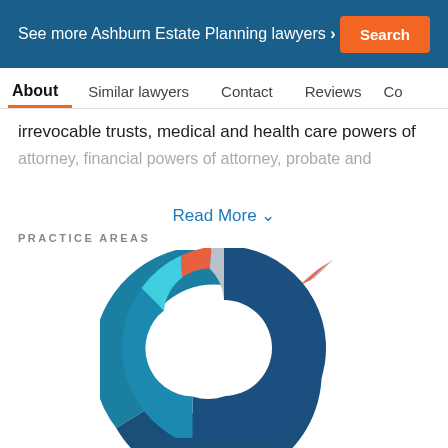See more Ashburn Estate Planning lawyers > Search
About  Similar lawyers  Contact  Reviews  Co
irrevocable trusts, medical and health care powers of attorney, financial powers of attorney, probate and
Read More ∨
PRACTICE AREAS
[Figure (donut-chart): Practice Areas]